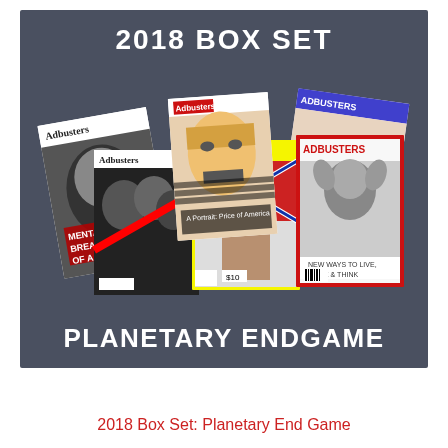[Figure (photo): Adbusters 2018 Box Set product image on dark grey background showing five Adbusters magazine covers arranged in a fan/stack, with '2018 BOX SET' text at top and 'PLANETARY ENDGAME' text at bottom, all on dark slate-grey background.]
2018 Box Set: Planetary End Game